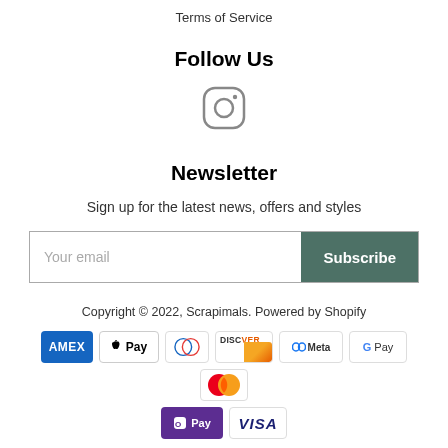Terms of Service
Follow Us
[Figure (illustration): Instagram icon — rounded square with circle and dot inside, gray outline]
Newsletter
Sign up for the latest news, offers and styles
Your email / Subscribe button
Copyright © 2022, Scrapimals. Powered by Shopify
[Figure (illustration): Payment method icons: American Express, Apple Pay, Diners Club, Discover, Meta Pay, Google Pay, Mastercard, Shop Pay, Visa]